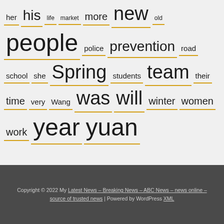her his life market more new old people police prevention road school she Spring students team their time very Wang was will winter women work year yuan
Copyright © 2022 My Latest News – Breaking News – ABC News – news online – source of trusted news | Powered by WordPress XML